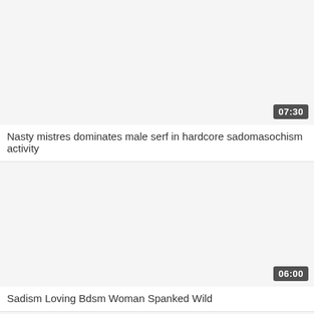[Figure (screenshot): Video thumbnail placeholder, light gray background with duration badge showing 07:30]
Nasty mistres dominates male serf in hardcore sadomasochism activity
[Figure (screenshot): Video thumbnail placeholder, light gray background with duration badge showing 06:00]
Sadism Loving Bdsm Woman Spanked Wild